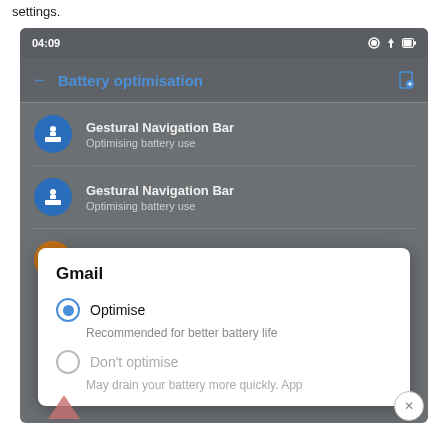settings.
[Figure (screenshot): Android Battery optimisation screen showing a list with Gestural Navigation Bar (x2), GetBarter apps, and a Gmail dialog popup with Optimise (selected) and Don't optimise radio options.]